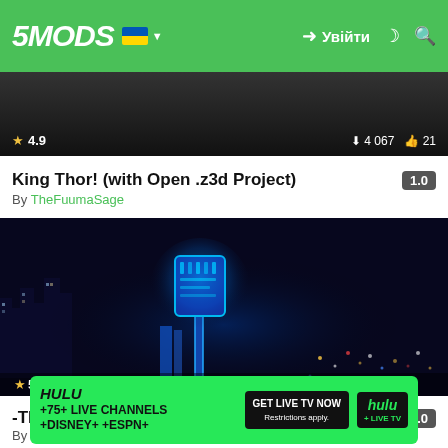5MODS — Увійти
[Figure (screenshot): Partially visible game screenshot (dark background) with rating 4.9, download count 4 067, and likes 21]
King Thor! (with Open .z3d Project)  1.0
By TheFuumaSage
[Figure (screenshot): GTA V game screenshot showing a glowing blue Mjolnir hammer flying over a night city skyline. Rating 5.0, downloads 3 151, likes 29.]
-TFS- Mjolnir! (God of War 2022)  1.0
By TheFuumaSage
[Figure (infographic): Hulu advertisement banner: HULU +75+ LIVE CHANNELS +DISNEY+ +ESPN+ — GET LIVE TV NOW — hulu + LIVE TV]